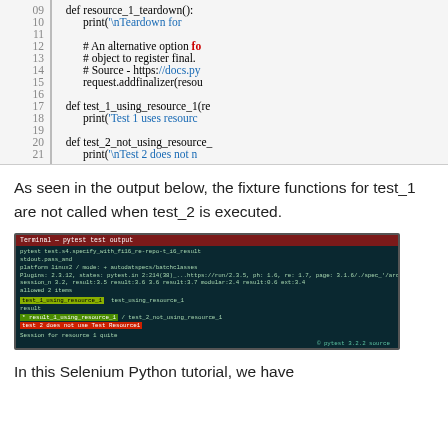[Figure (screenshot): Code block showing Python pytest fixture teardown code, lines 09-21, with syntax highlighting. Lines include resource_1_teardown function, comments about alternative option and addfinalizer, and test functions test_1_using_resource_1 and test_2_not_using_resource_1.]
As seen in the output below, the fixture functions for test_1 are not called when test_2 is executed.
[Figure (screenshot): Terminal screenshot showing pytest test output on dark background, with highlighted green and red boxes indicating test_1_using_resource_1 and test_2_not_using_resource calls and results.]
In this Selenium Python tutorial, we have